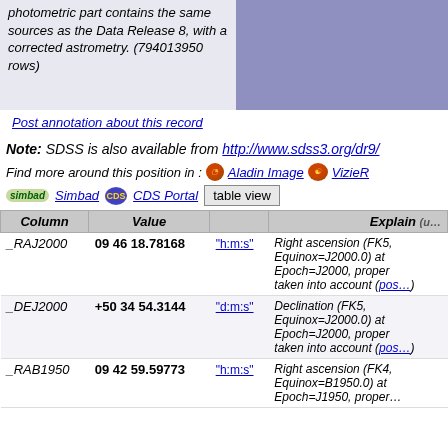photometric part contains the same sources as the Data Release 8, with a corrected astrometry. (794013950 rows)
Post annotation about this record
Note: SDSS is also available from http://www.sdss3.org/dr9/
Find more around this position in : Aladin Image VizieR Simbad CDS Portal table view
| Column | Value |  | Explain (u… |
| --- | --- | --- | --- |
| _RAJ2000 | 09 46 18.78168 | "h:m:s" | Right ascension (FK5, Equinox=J2000.0) at Epoch=J2000, proper taken into account (pos… |
| _DEJ2000 | +50 34 54.3144 | "d:m:s" | Declination (FK5, Equinox=J2000.0) at Epoch=J2000, proper taken into account (pos… |
| _RAB1950 | 09 42 59.59773 | "h:m:s" | Right ascension (FK4, Equinox=B1950.0) at Epoch=J1950, proper… |